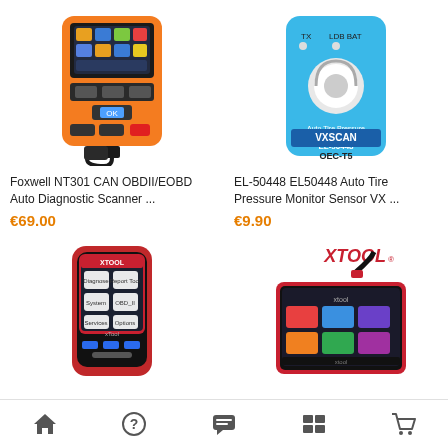[Figure (photo): Foxwell NT301 CAN OBDII/EOBD Auto Diagnostic Scanner - orange handheld device with screen and OBD connector]
Foxwell NT301 CAN OBDII/EOBD Auto Diagnostic Scanner ...
€69.00
[Figure (photo): EL-50448 EL50448 Auto Tire Pressure Monitor Sensor VX - blue sensor device with VXSCAN branding]
EL-50448 EL50448 Auto Tire Pressure Monitor Sensor VX ...
€9.90
[Figure (photo): Red XTOOL handheld diagnostic scanner with touchscreen showing app menu]
[Figure (photo): XTOOL tablet diagnostic device with red border and touchscreen, showing colorful icon grid]
Home | Help | Chat | List | Cart navigation bar